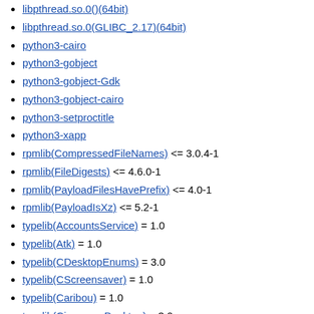libpthread.so.0()(64bit)
libpthread.so.0(GLIBC_2.17)(64bit)
python3-cairo
python3-gobject
python3-gobject-Gdk
python3-gobject-cairo
python3-setproctitle
python3-xapp
rpmlib(CompressedFileNames) <= 3.0.4-1
rpmlib(FileDigests) <= 4.6.0-1
rpmlib(PayloadFilesHavePrefix) <= 4.0-1
rpmlib(PayloadIsXz) <= 5.2-1
typelib(AccountsService) = 1.0
typelib(Atk) = 1.0
typelib(CDesktopEnums) = 3.0
typelib(CScreensaver) = 1.0
typelib(Caribou) = 1.0
typelib(CinnamonDesktop) = 3.0
typelib(Cvc) = 1.0
typelib(GLib) = 2.0
typelib(GLib) = 2.0
typelib(GModule) = 2.0
typelib(GObject) = 2.0
typelib(GObject) = 2.0
typelib(Gdk) = 3.0